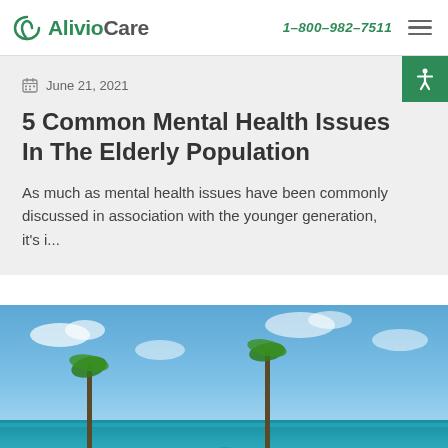AlivioCare  1-800-982-7511
June 21, 2021
5 Common Mental Health Issues In The Elderly Population
As much as mental health issues have been commonly discussed in association with the younger generation, it's i...
[Figure (photo): Beach scene with blue sky, ocean, people on the sand, palm trees, and colorful umbrellas]